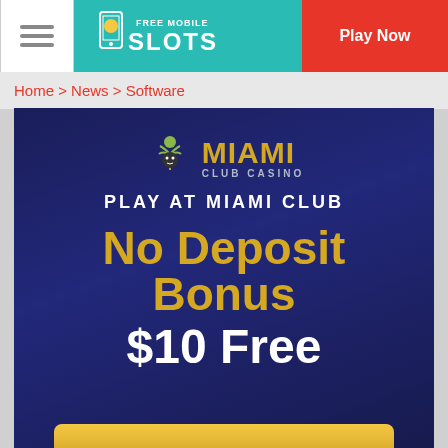Free Mobile Slots — Play Now
Home > News > Software
[Figure (illustration): Miami Club Casino promotional banner showing 'PLAY AT MIAMI CLUB', 'No Deposit Bonus', '$10 Free', and a gold button at the bottom]